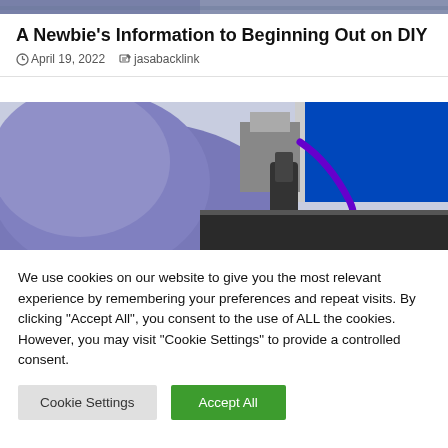[Figure (photo): Top strip of a photo showing a person in a blue/purple shirt working near a laser marking machine with a blue body, black components, and a purple flexible hose/cable.]
A Newbie’s Information to Beginning Out on DIY
◷ April 19, 2022   ✎ jasabacklink
[Figure (photo): A person wearing a blue/purple shirt leaning over and operating a laser engraving or marking machine. The machine has a blue rectangular body, a black cylindrical lens/head, and a purple flexible coolant hose. The work surface below appears to be a dark metal plate.]
We use cookies on our website to give you the most relevant experience by remembering your preferences and repeat visits. By clicking “Accept All”, you consent to the use of ALL the cookies. However, you may visit "Cookie Settings" to provide a controlled consent.
Cookie Settings    Accept All